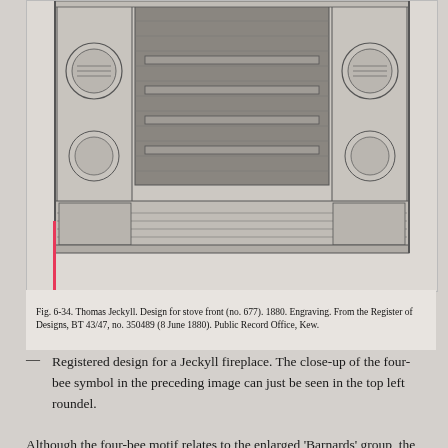[Figure (illustration): Engraving of Thomas Jeckyll's design for a stove front (no. 677), 1880. Shows a detailed architectural drawing of a fireplace/stove front with decorative panels, shelves, and roundel motifs on either side.]
Fig. 6-34. Thomas Jeckyll. Design for stove front (no. 677). 1880. Engraving. From the Register of Designs, BT 43/47, no. 350489 (8 June 1880). Public Record Office, Kew.
— Registered design for a Jeckyll fireplace. The close-up of the four-bee symbol in the preceding image can just be seen in the top left roundel.
Although the four-bee motif relates to the enlarged 'Barnards' group, the two-butterfly symbol does not seem to have been appropriated by the earlier pairing of Barnard and Bishop and was clearly reserved for Jeckyll himself. Recently I visited Saint Peter's church